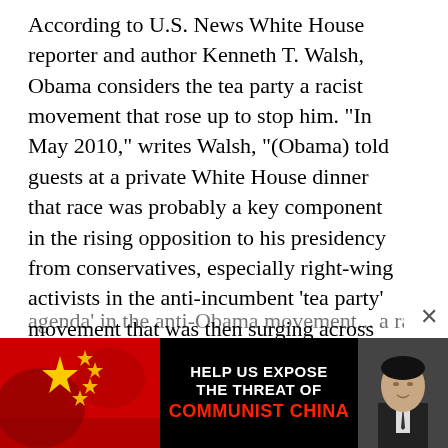According to U.S. News White House reporter and author Kenneth T. Walsh, Obama considers the tea party a racist movement that rose up to stop him. "In May 2010," writes Walsh, "(Obama) told guests at a private White House dinner that race was probably a key component in the rising opposition to his presidency from conservatives, especially right-wing activists in the anti-incumbent 'tea party' movement that was then surging across the country. ... A guest suggested that when tea party activists said they wanted to 'take back' their country, their real motivation was to stir up anger and anxiety at having a black president, and Obama didn't dispute the idea. He agreed that there was a 'subterranean agenda' in the anti-Obama movement... a racially...
[Figure (infographic): Advertisement banner: 'HELP US EXPOSE THE THREAT OF COMMUNIST CHINA' with Chinese flag, red background imagery, and a photo of a person in a suit on the right side.]